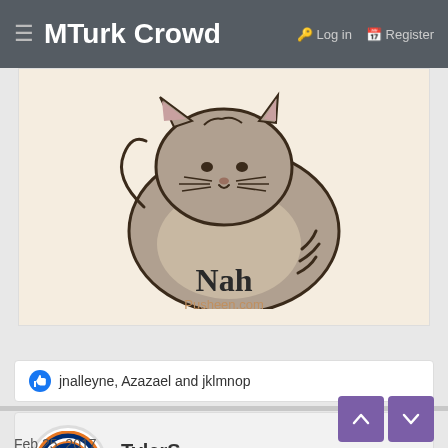≡ MTurk Crowd   🔑 Log in   🗂 Register
[Figure (illustration): Pusheen the cat cartoon illustration sitting contentedly, with text 'Nah' below and 'Pusheen.com' credit beneath that, on a cream/beige background]
👍 jnalleyne, Azazael and jklmnop
TylerS   Lazy Turker   Contributor
Feb 25, 2017